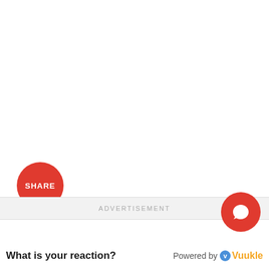[Figure (other): Red circular SHARE button]
ADVERTISEMENT
[Figure (other): Red circular comment/chat button]
What is your reaction?
Powered by Vuukle